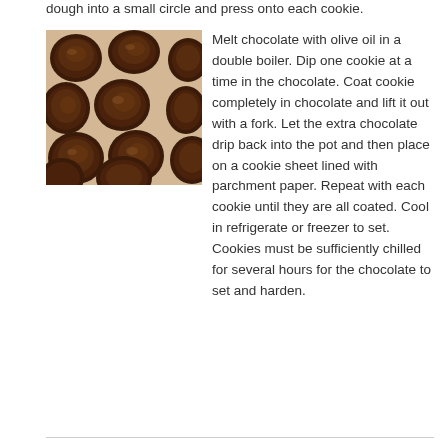dough into a small circle and press onto each cookie.
[Figure (photo): Chocolate-dipped cookies arranged on parchment paper, fully coated in dark chocolate glaze, viewed from above.]
Melt chocolate with olive oil in a double boiler. Dip one cookie at a time in the chocolate. Coat cookie completely in chocolate and lift it out with a fork. Let the extra chocolate drip back into the pot and then place on a cookie sheet lined with parchment paper. Repeat with each cookie until they are all coated. Cool in refrigerate or freezer to set. Cookies must be sufficiently chilled for several hours for the chocolate to set and harden.